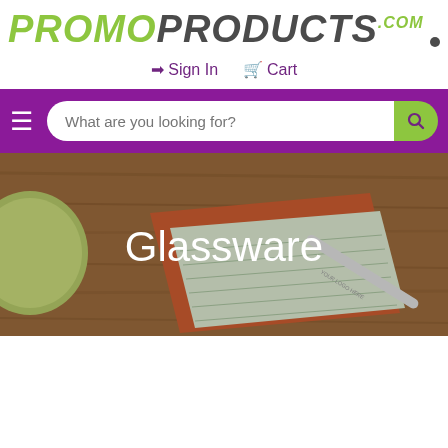[Figure (logo): PromoProducts.com logo with green italic 'PROMO' and dark gray italic 'PRODUCTS' text with green .COM superscript and dot accent]
→ Sign In  🛒 Cart
[Figure (screenshot): Purple navigation bar with hamburger menu icon on left and white rounded search box reading 'What are you looking for?' with green search button on right]
[Figure (photo): Hero banner showing a wooden desk surface with a green cup, orange leather notebook, lined notepad, and a pen reading 'Your Logo Here', with 'Glassware' text overlay in white]
Glassware